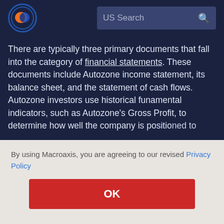[Figure (logo): Macroaxis logo: orange and blue circular icon]
US Search
There are typically three primary documents that fall into the category of financial statements. These documents include Autozone income statement, its balance sheet, and the statement of cash flows. Autozone investors use historical funamental indicators, such as Autozone's Gross Profit, to determine how well the company is positioned to [may use] [ed.]
By using Macroaxis, you are agreeing to our revised Privacy Policy
OK
[enses] [results] [ovide] [sheet,] but not equivalent to net income shown on the income